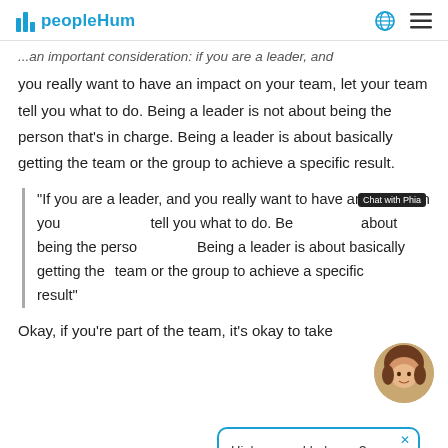peopleHum
... an important consideration: if you are a leader, and you really want to have an impact on your team, let your team tell you what to do. Being a leader is not about being the person that's in charge. Being a leader is about basically getting the team or the group to achieve a specific result.
"If you are a leader, and you really want to have an impact on your team, let your team tell you what to do. Being a leader is not about being the person that's in charge. Being a leader is about basically getting the team or the group to achieve a specific result"
[Figure (screenshot): Chat widget popup with message: Hi, how can I help you? and avatar of Phia chatbot]
Okay, if you're part of the team, it's okay to take